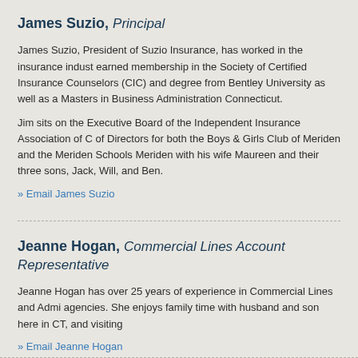James Suzio, Principal
James Suzio, President of Suzio Insurance, has worked in the insurance industry earned membership in the Society of Certified Insurance Counselors (CIC) and degree from Bentley University as well as a Masters in Business Administration Connecticut.
Jim sits on the Executive Board of the Independent Insurance Association of C of Directors for both the Boys & Girls Club of Meriden and the Meriden Schools Meriden with his wife Maureen and their three sons, Jack, Will, and Ben.
» Email James Suzio
Jeanne Hogan, Commercial Lines Account Representative
Jeanne Hogan has over 25 years of experience in Commercial Lines and Admi agencies.  She enjoys family time with husband and son here in CT, and visiting
» Email Jeanne Hogan